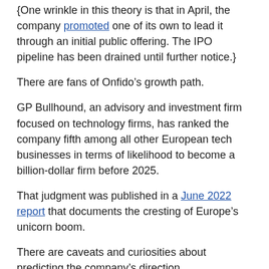{One wrinkle in this theory is that in April, the company promoted one of its own to lead it through an initial public offering. The IPO pipeline has been drained until further notice.}
There are fans of Onfido’s growth path.
GP Bullhound, an advisory and investment firm focused on technology firms, has ranked the company fifth among all other European tech businesses in terms of likelihood to become a billion-dollar firm before 2025.
That judgment was published in a June 2022 report that documents the cresting of Europe’s unicorn boom.
There are caveats and curiosities about predicting the company’s direction.
Although a global recession is predicted by a growing number of observers and players, and stock markets worldwide are cascading, nervous economies are stable for the moment. No recession, no need to circle the wagons.
Also, the apparent focus on profit over growth began even before